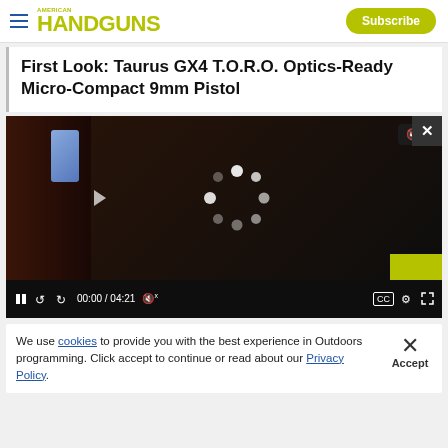HANDGUNS | Subscribe
First Look: Taurus GX4 T.O.R.O. Optics-Ready Micro-Compact 9mm Pistol
[Figure (screenshot): Video player showing a person holding a Taurus GX4 T.O.R.O. pistol, with loading spinner visible. Video controls show 00:00 / 04:21, mute button, CC, settings, and fullscreen icons.]
We use cookies to provide you with the best experience in Outdoors programming. Click accept to continue or read about our Privacy Policy.